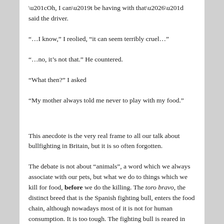“Oh, I can’t be having with that…” said the driver.
“…I know,” I reolied, “it can seem terribly cruel…”
“…no, it’s not that.” He countered.
“What then?” I asked
“My mother always told me never to play with my food.”
This anecdote is the very real frame to all our talk about bullfighting in Britain, but it is so often forgotten.
The debate is not about “animals”, a word which we always associate with our pets, but what we do to things which we kill for food, before we do the killing. The toro bravo, the distinct breed that is the Spanish fighting bull, enters the food chain, although nowadays most of it is not for human consumption. It is too tough. The fighting bull is reared in natural forests and meadows until the age of